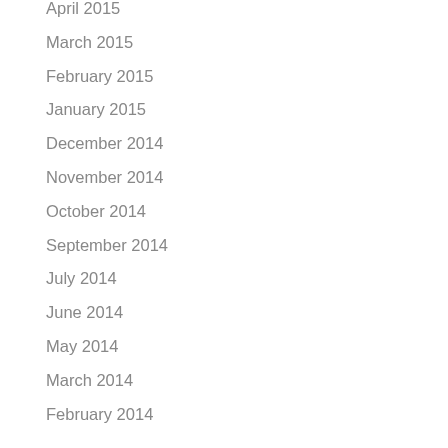April 2015
March 2015
February 2015
January 2015
December 2014
November 2014
October 2014
September 2014
July 2014
June 2014
May 2014
March 2014
February 2014